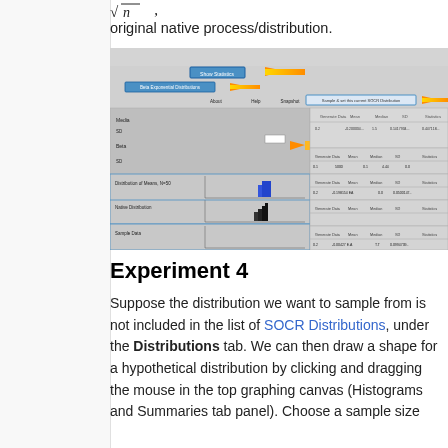original native process/distribution.
[Figure (screenshot): SOCR sampling distribution simulator interface showing histogram panels, sample data, distribution of means, with orange arrows highlighting key interface buttons including 'Sample & set this current SOCR Distribution' button]
Experiment 4
Suppose the distribution we want to sample from is not included in the list of SOCR Distributions, under the Distributions tab. We can then draw a shape for a hypothetical distribution by clicking and dragging the mouse in the top graphing canvas (Histograms and Summaries tab panel). Choose a sample size